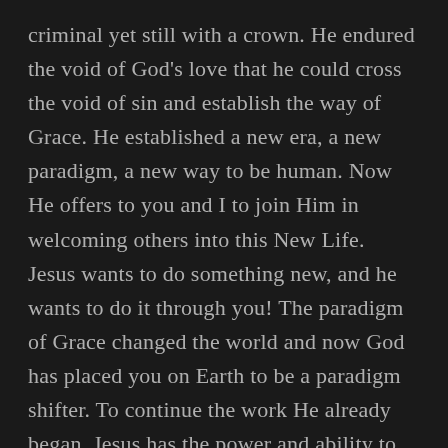criminal yet still with a crown. He endured the void of God's love that he could cross the void of sin and establish the way of Grace. He established a new era, a new paradigm, a new way to be human. Now He offers to you and I to join Him in welcoming others into this New Life. Jesus wants to do something new, and he wants to do it through you! The paradigm of Grace changed the world and now God has placed you on Earth to be a paradigm shifter. To continue the work He already began. Jesus has the power and ability to do new things in your life and through your life. He allows imperfect people to continue His perfect work, and though you may never be “ready”, Jesus